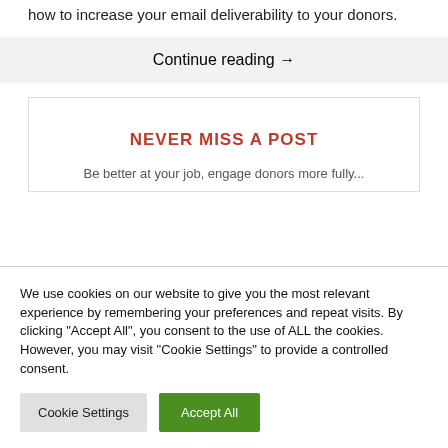how to increase your email deliverability to your donors.
Continue reading →
NEVER MISS A POST
Be better at your job, engage donors more fully...
We use cookies on our website to give you the most relevant experience by remembering your preferences and repeat visits. By clicking "Accept All", you consent to the use of ALL the cookies. However, you may visit "Cookie Settings" to provide a controlled consent.
Cookie Settings
Accept All